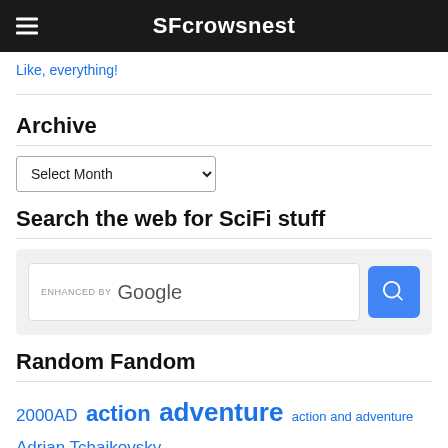SFcrowsnest
Like, everything!
Archive
Select Month
Search the web for SciFi stuff
[Figure (screenshot): Google custom search box with 'ENHANCED BY Google' label and blue search button]
Random Fandom
2000AD action adventure action and adventure Adrian Tchaikovsky Alter Ego Back Issue
adventure